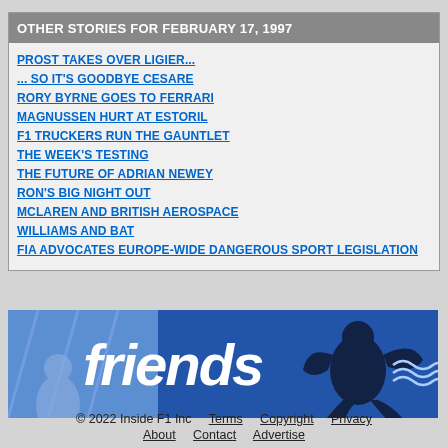OTHER STORIES FOR FEBRUARY 17, 1997
PROST TAKES OVER LIGIER...
... SO IT'S GOODBYE CESARE
RORY BYRNE GOES TO FERRARI
MAGNUSSEN HURT AT ESTORIL
F1 TRUCKERS RUN THE GAUNTLET
THE WEEK'S TESTING
THE FUTURE OF ADRIAN NEWEY
RON'S BIG NIGHT OUT
MCLAREN AND BRITISH AEROSPACE
WILLIAMS AND BAT
FIA ADVOCATES EUROPE-WIDE DANGEROUS SPORT LEGISLATION
[Figure (illustration): A banner advertisement with blue background, showing 'friends' in italic white text with a dark silhouette figure illustration to the right.]
© 2022 Inside F1 Inc    Terms    Copyright    Privacy    About    Contact    Advertise